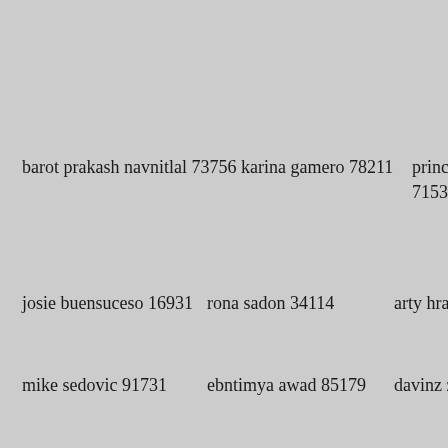barot prakash navnitlal 73756 karina gamero 78211
princess nadia al mo... 71537
josie buensuceso 16931
rona sadon 34114
arty hrabak 72799
mike sedovic 91731
ebntimya awad 85179
davinz zhi 49794
ranniece aka myckie 37173
amanda bridget 54549
sciessere agustin 784...